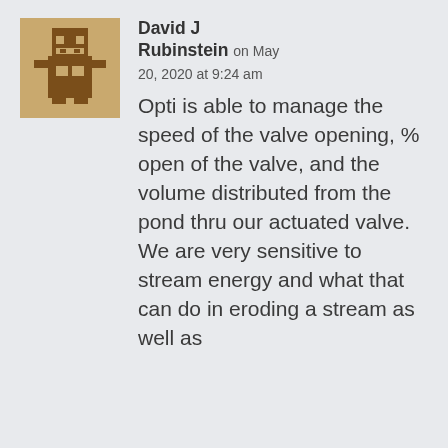[Figure (illustration): Pixel art avatar image of a brown robot/character on a light brown background]
David J Rubinstein on May 20, 2020 at 9:24 am
Opti is able to manage the speed of the valve opening, % open of the valve, and the volume distributed from the pond thru our actuated valve. We are very sensitive to stream energy and what that can do in eroding a stream as well as